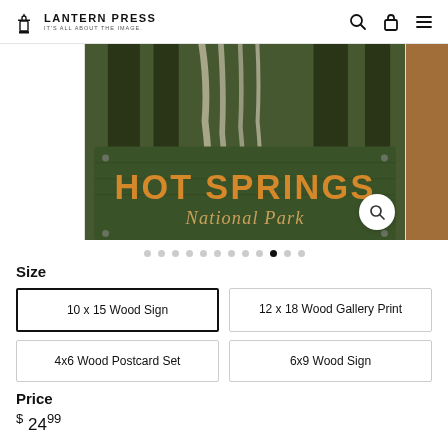Lantern Press — It's All About The Image.
[Figure (photo): Hot Springs National Park decorative wood sign with forest and waterfall scene. Orange text reads HOT SPRINGS National Park on dark green wooden background.]
Size
10 x 15 Wood Sign (selected)
12 x 18 Wood Gallery Print
4x6 Wood Postcard Set
6x9 Wood Sign
Price
$ 2499